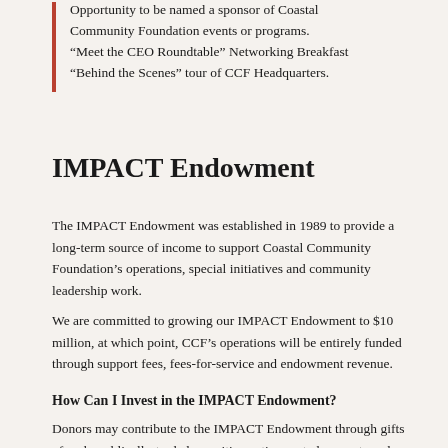Opportunity to be named a sponsor of Coastal Community Foundation events or programs.
"Meet the CEO Roundtable" Networking Breakfast
"Behind the Scenes" tour of CCF Headquarters.
IMPACT Endowment
The IMPACT Endowment was established in 1989 to provide a long-term source of income to support Coastal Community Foundation's operations, special initiatives and community leadership work.
We are committed to growing our IMPACT Endowment to $10 million, at which point, CCF's operations will be entirely funded through support fees, fees-for-service and endowment revenue.
How Can I Invest in the IMPACT Endowment?
Donors may contribute to the IMPACT Endowment through gifts of cash, publically-traded securities, retirement plan assets and other giving options. Also, CCF's IMPACT